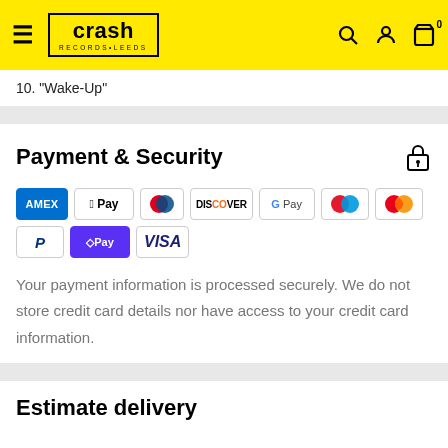Crash Records Leeds
10. "Wake-Up"
Payment & Security
[Figure (other): Payment method icons: American Express, Apple Pay, Diners Club, Discover, Google Pay, Maestro, Mastercard, PayPal, Shop Pay, Visa]
Your payment information is processed securely. We do not store credit card details nor have access to your credit card information.
Estimate delivery